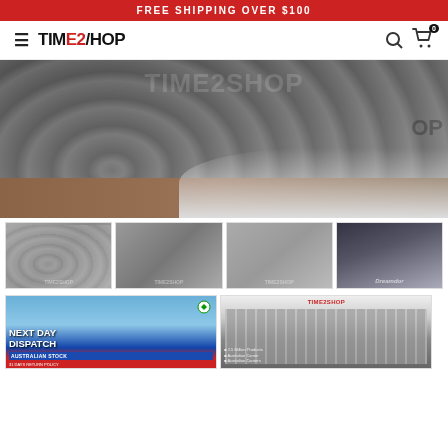FREE SHIPPING OVER $100
[Figure (logo): TIME2SHOP logo with hamburger menu on left and search/cart icons on right]
[Figure (photo): Main product image: grey patterned duvet/quilt cover set on a bed, with TIME2SHOP watermark overlay]
[Figure (photo): Thumbnail 1: grey patterned quilt set on bed with pillows]
[Figure (photo): Thumbnail 2: grey quilt folded, with TIME2SHOP watermark]
[Figure (photo): Thumbnail 3: bed with grey patterned quilt in bedroom setting, TIME2SHOP watermark]
[Figure (photo): Thumbnail 4: Dreamdor brand advertisement with people]
[Figure (photo): Next Day Dispatch - Australian Stock banner with green/white/red Australian imagery]
[Figure (photo): TIME2SHOP warehouse interior showing aisles of shelving]